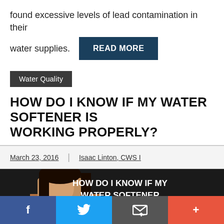found excessive levels of lead contamination in their water supplies.
READ MORE
Water Quality
HOW DO I KNOW IF MY WATER SOFTENER IS WORKING PROPERLY?
March 23, 2016 | Isaac Linton, CWS I
[Figure (photo): Woman with finger on lips next to text 'HOW DO I KNOW IF MY WATER SOFTENER IS WORKING PROPERLY?']
f
(twitter bird icon)
(email icon)
+